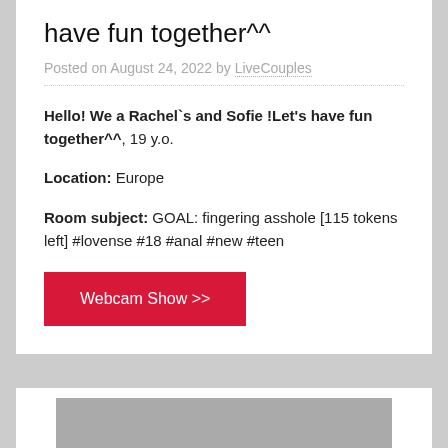have fun together^^
Posted on August 24, 2022 by LiveCouples
Hello! We a Rachel`s and Sofie !Let's have fun together^^, 19 y.o.
Location: Europe
Room subject: GOAL: fingering asshole [115 tokens left] #lovense #18 #anal #new #teen
Webcam Show >>
[Figure (photo): Gray placeholder image at the bottom of the page]